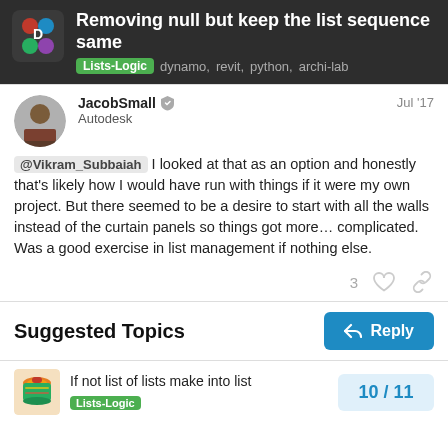Removing null but keep the list sequence same
Lists-Logic  dynamo,  revit,  python,  archi-lab
JacobSmall  Autodesk  Jul '17
@Vikram_Subbaiah I looked at that as an option and honestly that's likely how I would have run with things if it were my own project. But there seemed to be a desire to start with all the walls instead of the curtain panels so things got more… complicated. Was a good exercise in list management if nothing else.
3
Suggested Topics
Reply
If not list of lists make into list
Lists-Logic
10 / 11